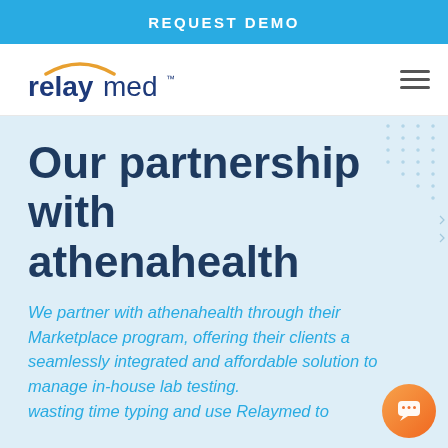REQUEST DEMO
[Figure (logo): relaymed logo with arc above text]
Our partnership with athenahealth
We partner with athenahealth through their Marketplace program, offering their clients a seamlessly integrated and affordable solution to manage in-house lab testing. wasting time typing and use Relaymed to